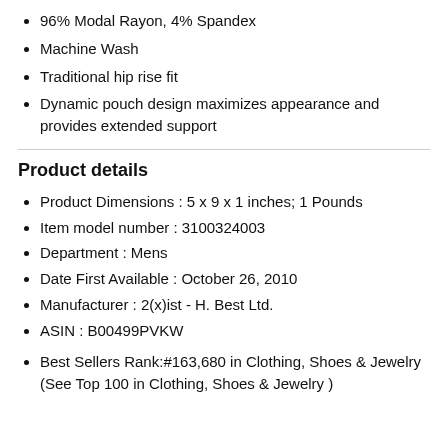96% Modal Rayon, 4% Spandex
Machine Wash
Traditional hip rise fit
Dynamic pouch design maximizes appearance and provides extended support
Product details
Product Dimensions : 5 x 9 x 1 inches; 1 Pounds
Item model number : 3100324003
Department : Mens
Date First Available : October 26, 2010
Manufacturer : 2(x)ist - H. Best Ltd.
ASIN : B00499PVKW
Best Sellers Rank:#163,680 in Clothing, Shoes & Jewelry (See Top 100 in Clothing, Shoes & Jewelry )